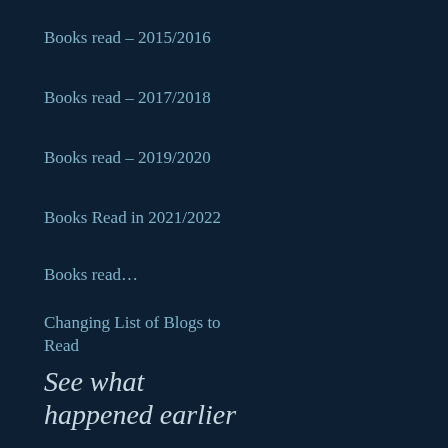Books read – 2015/2016
Books read – 2017/2018
Books read – 2019/2020
Books Read in 2021/2022
Books read…
Changing List of Blogs to Read
See what happened earlier
Select Month